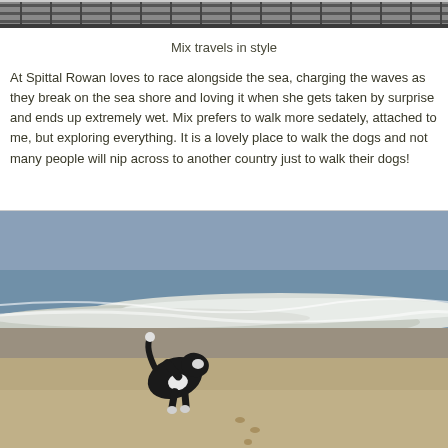[Figure (photo): Partial view of a dog carrier/crate with mesh and metal frame, visible at the top of the page]
Mix travels in style
At Spittal Rowan loves to race alongside the sea, charging the waves as they break on the sea shore and loving it when she gets taken by surprise and ends up extremely wet. Mix prefers to walk more sedately, attached to me, but exploring everything. It is a lovely place to walk the dogs and not many people will nip across to another country just to walk their dogs!
[Figure (photo): A black and white dog running along a sandy beach shore, with ocean waves breaking in the background]